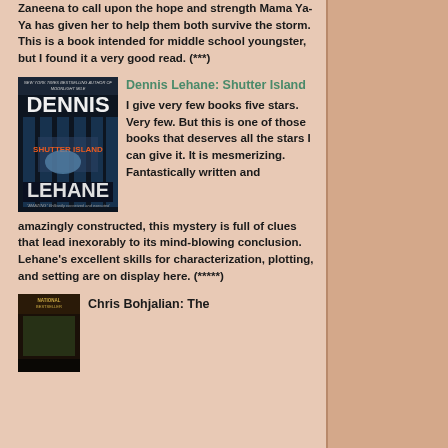Zaneena to call upon the hope and strength Mama Ya-Ya has given her to help them both survive the storm. This is a book intended for middle school youngster, but I found it a very good read. (***)
Dennis Lehane: Shutter Island
[Figure (photo): Book cover of Shutter Island by Dennis Lehane showing bars and a hand]
I give very few books five stars. Very few. But this is one of those books that deserves all the stars I can give it. It is mesmerizing. Fantastically written and amazingly constructed, this mystery is full of clues that lead inexorably to its mind-blowing conclusion. Lehane's excellent skills for characterization, plotting, and setting are on display here. (*****)
Chris Bohjalian: The
[Figure (photo): Book cover of a Chris Bohjalian book, small thumbnail at bottom]